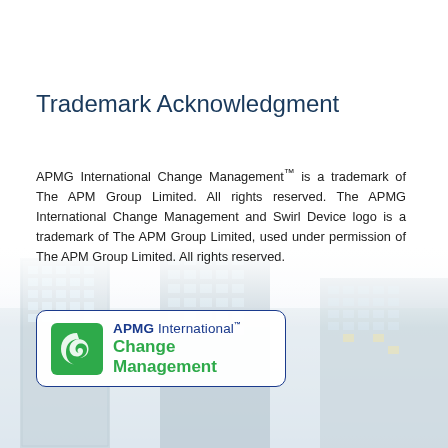Trademark Acknowledgment
APMG International Change Management™ is a trademark of The APM Group Limited. All rights reserved. The APMG International Change Management and Swirl Device logo is a trademark of The APM Group Limited, used under permission of The APM Group Limited. All rights reserved.
[Figure (logo): APMG International Change Management logo: green swirl device on left, with 'APMG International™' in dark blue and 'Change Management' in green bold text, enclosed in a rounded rectangle border]